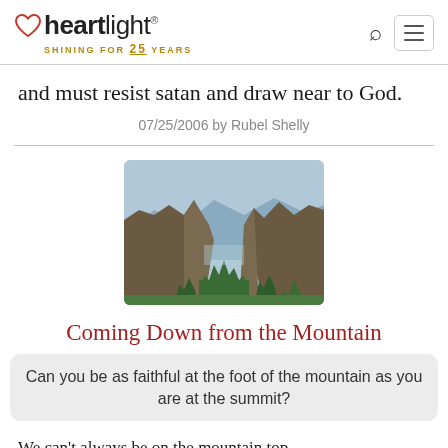heartlight® SHINING FOR 25 YEARS
and must resist satan and draw near to God.
07/25/2006 by Rubel Shelly
[Figure (photo): Mountain valley landscape with rocky cliffs and forested slopes]
Coming Down from the Mountain
Can you be as faithful at the foot of the mountain as you are at the summit?
We can't always be on the mountain top